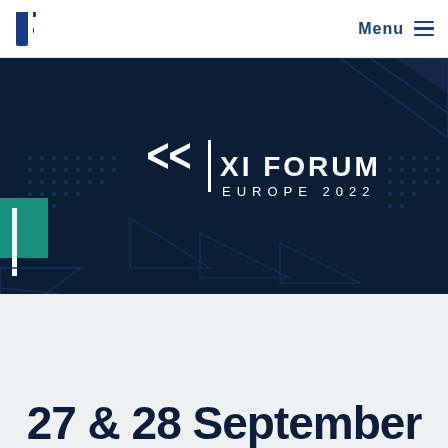Menu
[Figure (illustration): XI Forum Europe 2022 banner on dark navy background with geometric triangle and dot pattern decorations. Center shows XI Forum logo with stylized XI symbol and text 'XI FORUM EUROPE 2022' in white.]
27 & 28 September